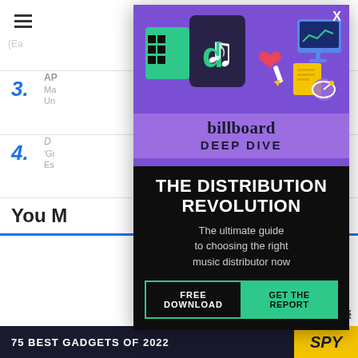[Figure (screenshot): Background webpage showing a list article with items 3 and 4, hamburger menu icon, and 'You Might' section header with blue underline. A modal advertisement overlay from Billboard Deep Dive covers the center of the page.]
[Figure (infographic): Billboard Deep Dive modal advertisement. Purple top section with illustrated icons (TikTok logo, heart, computer, satellite dish), Billboard logo in black serif text, 'DEEP DIVE' in bold caps. Black bottom section with headline 'THE DISTRIBUTION REVOLUTION', subtitle 'The ultimate guide to choosing the right music distributor now', and CTA buttons 'FREE DOWNLOAD' and 'GET THE REPORT' in teal/green.]
(Ea
3. AP ... ure Un
4. D... 'Gi Es ... ric House
You M
[Figure (infographic): Bottom banner ad: '75 BEST GADGETS OF 2022' on dark background with SPY logo on yellow background]